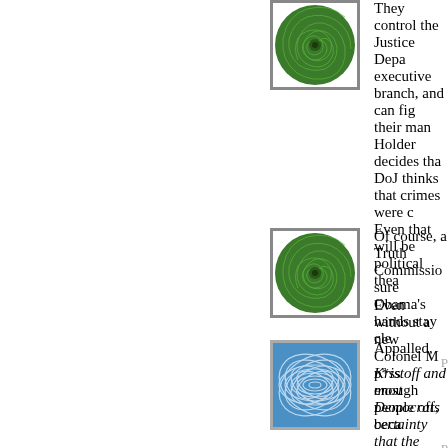[Figure (illustration): Green spiral/swirl avatar icon with border]
They control the Justice Depa... executive branch, and can fig... their man Holder decides tha... DoJ thinks that crimes were c... Even that will be political thea...
Even without a new Colonel M... p*ss enough people off, beca...
P...
[Figure (illustration): Green spiral/swirl avatar icon with border]
Of course, a Truth Commissio... sure Obama's hands stay cle...
P...
[Figure (illustration): Blue curved lines/swirl avatar icon with border]
Appalled,
Kristoff and most Democrats ... certainty that the Bush admin... strongly that any commission... same thing.
That's exactly right. Not Kristo... credibility," which seems to p...